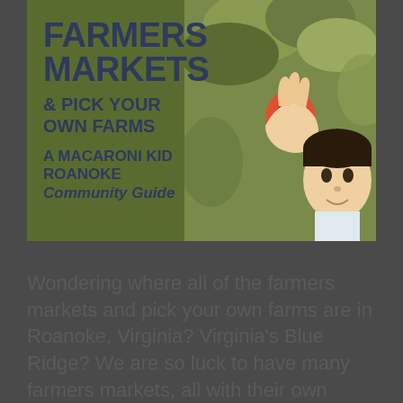[Figure (illustration): A community guide cover image showing a green background on the left with bold text reading FARMERS MARKETS & PICK YOUR OWN FARMS - A MACARONI KID ROANOKE Community Guide, and on the right a photo of a child picking/holding an apple or fruit]
Wondering where all of the farmers markets and pick your own farms are in Roanoke, Virginia? Virginia's Blue Ridge? We are so luck to have many farmers markets, all with their own unique vendors